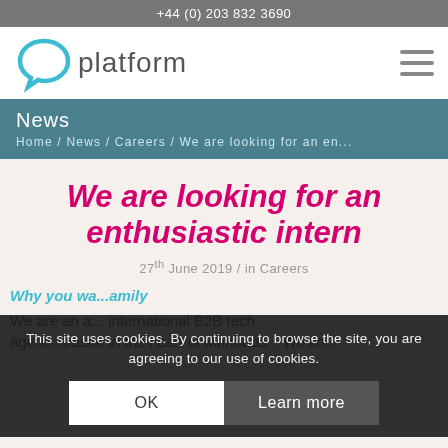+44 (0) 203 832 3690
[Figure (logo): Platform logo: teal chat bubble icon with the word 'platform' in grey]
News
Home / News / Careers / We are looking for an en...
We are looking for an enthusiastic intern
27th June 2019 / in Careers
This site uses cookies. By continuing to browse the site, you are agreeing to our use of cookies.
Why you wa...amily
We are an a... international B2B tech agenc...based in the heart of Mardabs... We co...